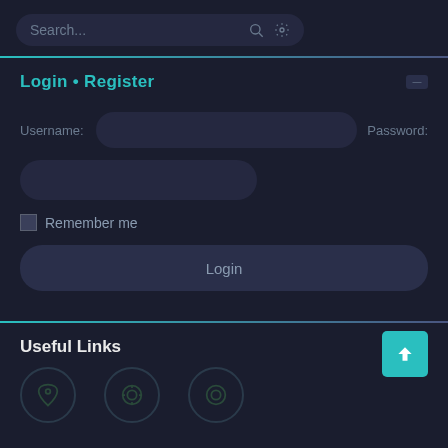[Figure (screenshot): Dark-themed web sidebar UI showing a search bar with search and settings icons at top]
Login • Register
Username:
Password:
Remember me
Login
Useful Links